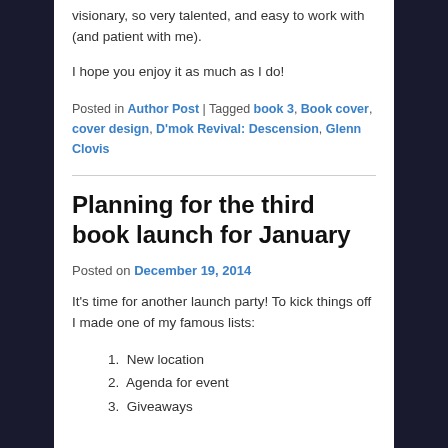visionary, so very talented, and easy to work with (and patient with me).
I hope you enjoy it as much as I do!
Posted in Author Post | Tagged book 3, Book cover, cover design, D'mok Revival: Descension, Glenn Clovis
Planning for the third book launch for January
Posted on December 19, 2014
It's time for another launch party! To kick things off I made one of my famous lists:
New location
Agenda for event
Giveaways